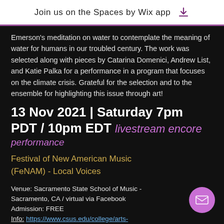Join us on the Spaces by Wix app
Emerson's meditation on water to contemplate the meaning of water for humans in our troubled century. The work was selected along with pieces by Catarina Domenici, Andrew List, and Katie Palka for a performance in a program that focuses on the climate crisis. Grateful for the selection and to the ensemble for highlighting this issue through art!
13 Nov 2021 | Saturday 7pm PDT / 10pm EDT livestream encore
performance
Festival of New American Music (FeNAM) - Local Voices
Venue: Sacramento State School of Music - Sacramento, CA / virtual via Facebook
Admission: FREE
Info: https://www.csus.edu/college/arts-letters/music/spotlight/fenam-festival.html